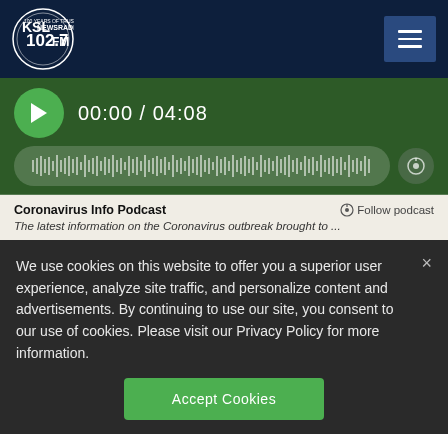[Figure (logo): KSL NewsRadio 102.7 FM logo with circular design and '100 Years of Trust' text]
[Figure (screenshot): Audio podcast player showing time 00:00 / 04:08 with green play button and waveform visualization]
Coronavirus Info Podcast
Follow podcast
The latest information on the Coronavirus outbreak brought to ...
We use cookies on this website to offer you a superior user experience, analyze site traffic, and personalize content and advertisements. By continuing to use our site, you consent to our use of cookies. Please visit our Privacy Policy for more information.
Accept Cookies